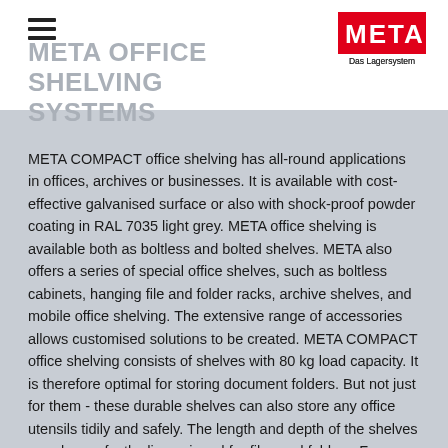META OFFICE SHELVING SYSTEMS
[Figure (logo): META Das Lagersystem logo — red rectangle with white META text, tagline Das Lagersystem below]
META COMPACT office shelving has all-round applications in offices, archives or businesses. It is available with cost-effective galvanised surface or also with shock-proof powder coating in RAL 7035 light grey. META office shelving is available both as boltless and bolted shelves. META also offers a series of special office shelves, such as boltless cabinets, hanging file and folder racks, archive shelves, and mobile office shelving. The extensive range of accessories allows customised solutions to be created. META COMPACT office shelving consists of shelves with 80 kg load capacity. It is therefore optimal for storing document folders. But not just for them - these durable shelves can also store any office utensils tidily and safely. The length and depth of the shelves are also perfectly dimensioned for files and folders. For